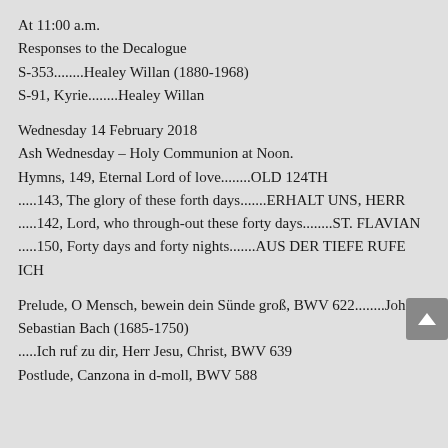At 11:00 a.m.
Responses to the Decalogue
S-353........Healey Willan (1880-1968)
S-91, Kyrie........Healey Willan
Wednesday 14 February 2018
Ash Wednesday – Holy Communion at Noon.
Hymns, 149, Eternal Lord of love........OLD 124TH
.....143, The glory of these forth days.......ERHALT UNS, HERR
.....142, Lord, who through-out these forty days........ST. FLAVIAN
.....150, Forty days and forty nights.......AUS DER TIEFE RUFE ICH
Prelude, O Mensch, bewein dein Sünde groß, BWV 622........Johann Sebastian Bach (1685-1750)
.....Ich ruf zu dir, Herr Jesu, Christ, BWV 639
Postlude, Canzona in d-moll, BWV 588